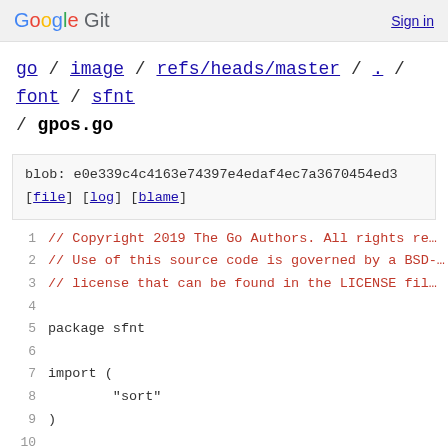Google Git  Sign in
go / image / refs/heads/master / . / font / sfnt / gpos.go
blob: e0e339c4c4163e74397e4edaf4ec7a3670454ed3
[file] [log] [blame]
1  // Copyright 2019 The Go Authors. All rights re...
2  // Use of this source code is governed by a BSD-...
3  // license that can be found in the LICENSE fil...
4
5  package sfnt
6
7  import (
8          "sort"
9  )
10
11 const (